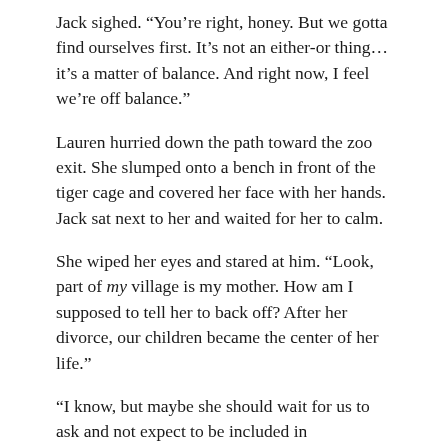Jack sighed. “You’re right, honey. But we gotta find ourselves first. It’s not an either-or thing…it’s a matter of balance. And right now, I feel we’re off balance.”
Lauren hurried down the path toward the zoo exit. She slumped onto a bench in front of the tiger cage and covered her face with her hands. Jack sat next to her and waited for her to calm.
She wiped her eyes and stared at him. “Look, part of my village is my mother. How am I supposed to tell her to back off? After her divorce, our children became the center of her life.”
“I know, but maybe she should wait for us to ask and not expect to be included in everything.”